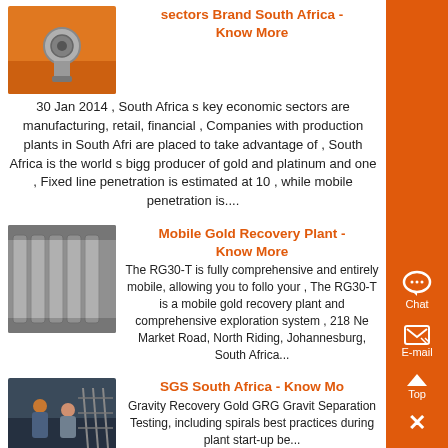[Figure (photo): Close-up photo of a metal bolt/nut on an orange surface]
sectors Brand South Africa - Know More
30 Jan 2014 , South Africa s key economic sectors are manufacturing, retail, financial , Companies with production plants in South Africa are placed to take advantage of , South Africa is the world s biggest producer of gold and platinum and one , Fixed line penetration is estimated at 10 , while mobile penetration is....
[Figure (photo): Photo of industrial metal grating/bars]
Mobile Gold Recovery Plant - Know More
The RG30-T is fully comprehensive and entirely mobile, allowing you to follow your , The RG30-T is a mobile gold recovery plant and comprehensive exploration system , 218 New Market Road, North Riding, Johannesburg, South Africa...
[Figure (photo): Photo of workers/technicians working with equipment]
SGS South Africa - Know More
Gravity Recovery Gold GRG Gravity Separation Testing, including spirals, best practices during plant start-up be...